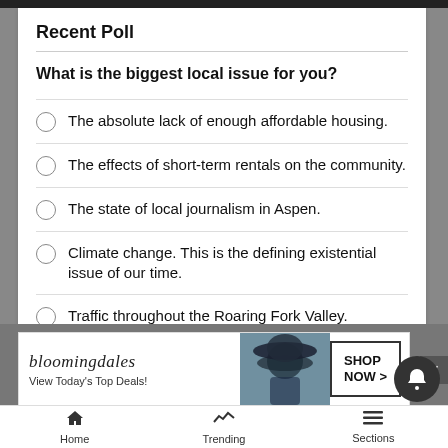Recent Poll
What is the biggest local issue for you?
The absolute lack of enough affordable housing.
The effects of short-term rentals on the community.
The state of local journalism in Aspen.
Climate change. This is the defining existential issue of our time.
Traffic throughout the Roaring Fork Valley.
[Figure (infographic): Bloomingdale's advertisement banner: logo, 'View Today's Top Deals!', woman with hat, 'SHOP NOW >' button]
Home   Trending   Sections